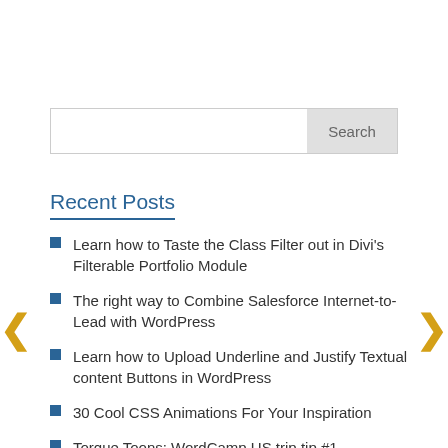Search
Recent Posts
Learn how to Taste the Class Filter out in Divi's Filterable Portfolio Module
The right way to Combine Salesforce Internet-to-Lead with WordPress
Learn how to Upload Underline and Justify Textual content Buttons in WordPress
30 Cool CSS Animations For Your Inspiration
Torque Toons: WordCamp US trip tip #1